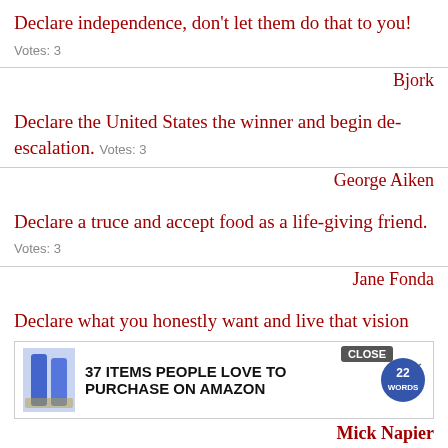Declare independence, don't let them do that to you! Votes: 3
Bjork
Declare the United States the winner and begin de-escalation. Votes: 3
George Aiken
Declare a truce and accept food as a life-giving friend. Votes: 3
Jane Fonda
Declare what you honestly want and live that vision
[Figure (screenshot): Advertisement overlay with CLOSE button, product images, text '37 ITEMS PEOPLE LOVE TO PURCHASE ON AMAZON', and 22words badge with X close button]
Mick Napier
Declare not war against your emotions, or